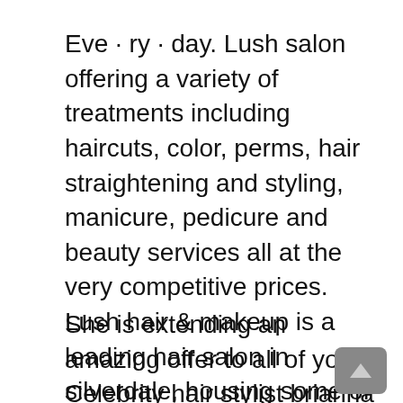Eve · ry · day. Lush salon offering a variety of treatments including haircuts, color, perms, hair straightening and styling, manicure, pedicure and beauty services all at the very competitive prices. Lush hair & makeup is a leading hair salon in silverdale, housing some of the most innovative and trendsetting hair stylists and makeup artists with each hair stylist specialising in their own niche market, offering a truly personalised service to our clients.
She is extending an amazing offer to all of you! Celebrity hair stylist brianna shehee opened lush hair imports & salons in january 2012. A beauty lounge is the top,